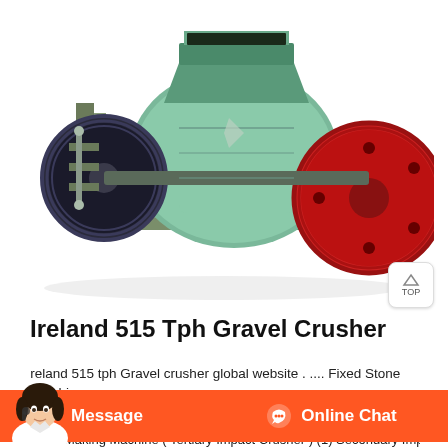[Figure (photo): Industrial gravel crusher machine with teal/green body, red flywheel on right side, black pulley on left, springs visible at base, hopper on top. Machine is mounted on a frame.]
Ireland 515 Tph Gravel Crusher
Ireland 515 tph Gravel crusher global website . .... Fixed Stone Crushing
[Figure (photo): Customer service representative chat bar overlay with orange background, showing Message button on left and Online Chat button with headset icon on right, plus avatar of a woman on the left side.]
Sand Making Machine ( Tertiary Impact Crusher ) (1) Secondary Impact